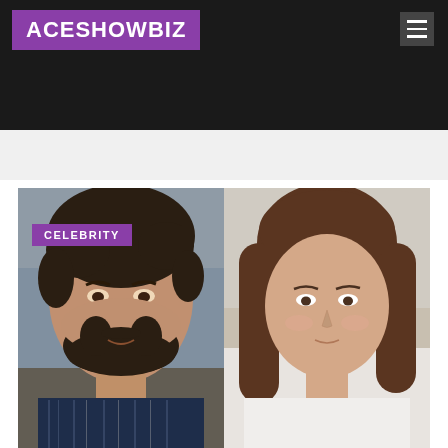ACESHOWBIZ
Badgley And Leighton Meester
Home - News
[Figure (photo): Side-by-side photos of Penn Badgley (left, man with dark curly hair and beard wearing striped shirt) and Leighton Meester (right, woman with long brown hair wearing white top), with a purple CELEBRITY badge overlay on the left photo]